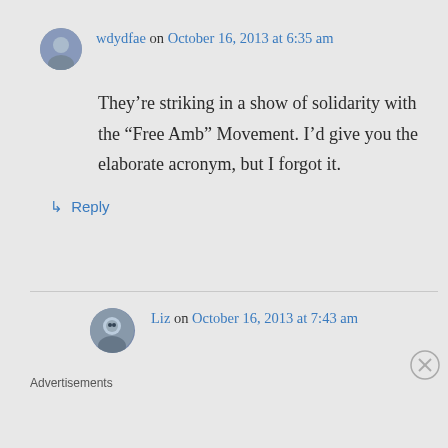wdydfae on October 16, 2013 at 6:35 am
They’re striking in a show of solidarity with the “Free Amb” Movement. I’d give you the elaborate acronym, but I forgot it.
↳ Reply
Liz on October 16, 2013 at 7:43 am
Advertisements